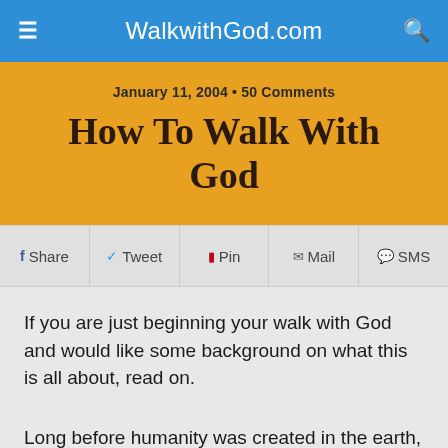WalkwithGod.com
January 11, 2004 • 50 Comments
How To Walk With God
Share  Tweet  Pin  Mail  SMS
If you are just beginning your walk with God and would like some background on what this is all about, read on.
Long before humanity was created in the earth, God